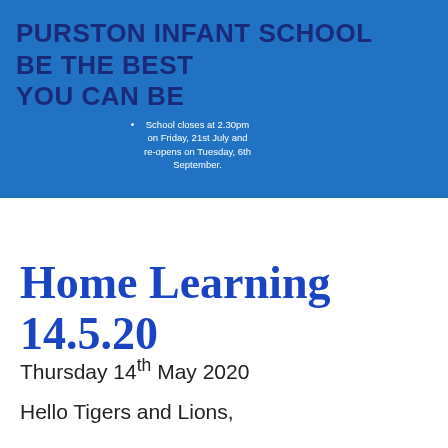PURSTON INFANT SCHOOL BE THE BEST YOU CAN BE
School closes at 2.30pm on Friday, 21st July and re-opens on Tuesday, 6th September.
Home Learning 14.5.20
Thursday 14th May 2020
Hello Tigers and Lions,